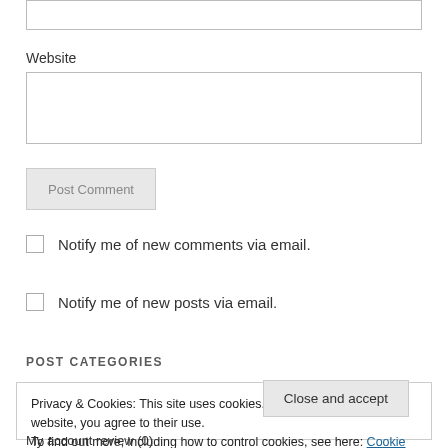Website
Notify me of new comments via email.
Notify me of new posts via email.
POST CATEGORIES
Privacy & Cookies: This site uses cookies. By continuing to use this website, you agree to their use.
To find out more, including how to control cookies, see here: Cookie Policy
Close and accept
My account review (0)